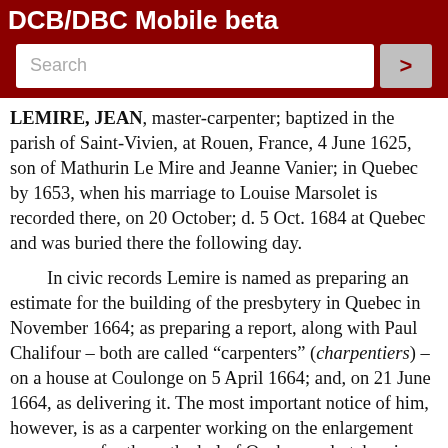DCB/DBC Mobile beta
LEMIRE, JEAN, master-carpenter; baptized in the parish of Saint-Vivien, at Rouen, France, 4 June 1625, son of Mathurin Le Mire and Jeanne Vanier; in Quebec by 1653, when his marriage to Louise Marsolet is recorded there, on 20 October; d. 5 Oct. 1684 at Quebec and was buried there the following day.
In civic records Lemire is named as preparing an estimate for the building of the presbytery in Quebec in November 1664; as preparing a report, along with Paul Chalifour – both are called “carpenters” (charpentiers) – on a house at Coulonge on 5 April 1664; and, on 21 June 1664, as delivering it. The most important notice of him, however, is as a carpenter working on the enlargement programme for the cathedral of Quebec undertaken in 1684. A contract for the work was signed by him on 4 Jan. 1684, and he is credited with constructing “out of oak from